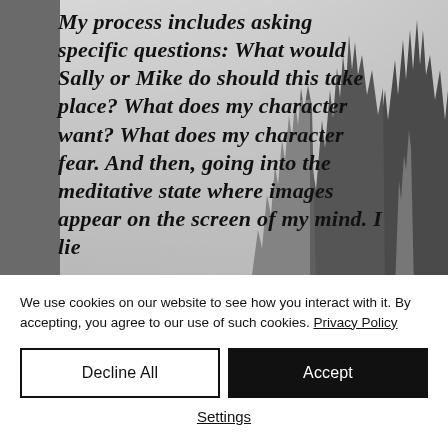[Figure (photo): Grayscale background showing misty forest scene with tall pine/fir trees emerging from fog, light gray tones]
My process includes asking specific questions: What would Sally or Mike do should this take place? What does my character want? What does my character fear. And then, going into the meditative state where images appear on the screen of my mind. I lie
We use cookies on our website to see how you interact with it. By accepting, you agree to our use of such cookies. Privacy Policy
Decline All
Accept
Settings